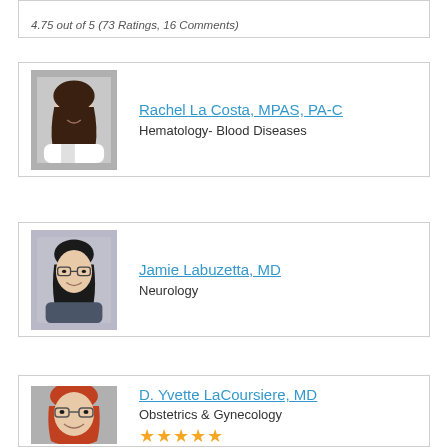4.75 out of 5 (73 Ratings, 16 Comments)
[Figure (photo): Headshot of Rachel La Costa, smiling woman with dark hair, white coat]
Rachel La Costa, MPAS, PA-C
Hematology- Blood Diseases
[Figure (photo): Headshot of Jamie Labuzetta, woman with glasses and dark hair]
Jamie Labuzetta, MD
Neurology
[Figure (photo): Headshot of D. Yvette LaCoursiere, woman with red hair and glasses]
D. Yvette LaCoursiere, MD
Obstetrics & Gynecology
4.99 out of 5 (44 Ratings, 15 Comments)